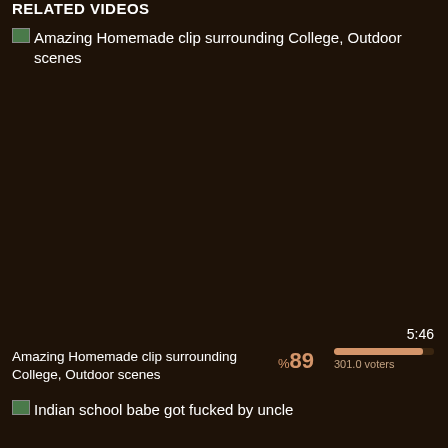RELATED VIDEOS
Amazing Homemade clip surrounding College, Outdoor scenes
5:46
Amazing Homemade clip surrounding College, Outdoor scenes
%89  301.0 voters
Indian school babe got fucked by uncle